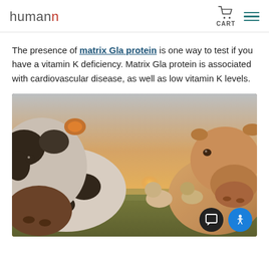humann — CART
The presence of matrix Gla protein is one way to test if you have a vitamin K deficiency. Matrix Gla protein is associated with cardiovascular disease, as well as low vitamin K levels.
[Figure (photo): Close-up photo of cows in a field at sunset. A large black-and-white cow fills the left side of the frame, with a tan/cream colored cow on the right. Smaller calves are visible in the background. The scene is lit with warm golden sunset light.]